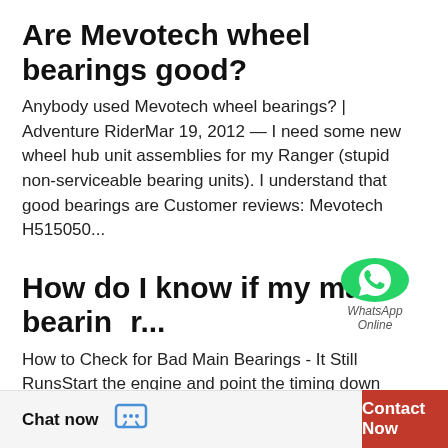Are Mevotech wheel bearings good?
Anybody used Mevotech wheel bearings? | Adventure RiderMar 19, 2012 — I need some new wheel hub unit assemblies for my Ranger (stupid non-serviceable bearing units). I understand that good bearings are Customer reviews: Mevotech H515050...
How do I know if my main bearing...
How to Check for Bad Main Bearings - It Still RunsStart the engine and point the timing down toward the crankshaft. Listen for any heavy knock or clunk coming from the engine. If you have a rod or bearing knock,  How do you know if your main...
[Figure (logo): WhatsApp green circle logo with phone icon and 'WhatsApp Online' text overlay]
How do you remove rusty bearings?
Chat now
Contact Now